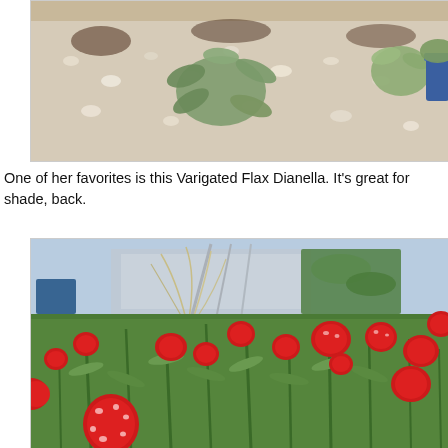[Figure (photo): Close-up photo of a garden with white pebbles/gravel mulch, green succulent or shrub plants, and a blue pot visible at the right edge.]
One of her favorites is this Varigated Flax Dianella. It's great for shade, back.
[Figure (photo): Outdoor garden photo showing bright red globe amaranth (Gomphrena) flowers in full bloom with green stems and leaves, with ornamental grasses and a building structure visible in the background.]